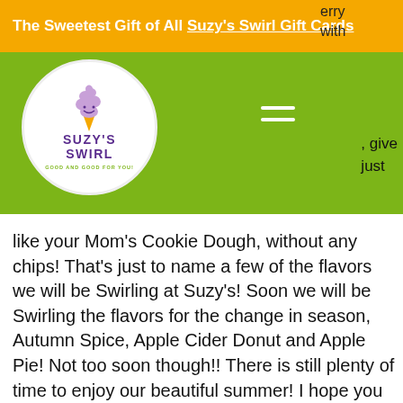The Sweetest Gift of All Suzy's Swirl Gift Cards
[Figure (logo): Suzy's Swirl logo: circular white badge with a soft-serve swirl icon on top, 'SUZY'S SWIRL' in purple, tagline 'GOOD AND GOOD FOR YOU!' in green arc around bottom, on an olive/yellow-green background bar]
like your Mom's Cookie Dough, without any chips!  That's just to name a few of the flavors we will be Swirling at Suzy's!  Soon we will be Swirling the flavors for the change in season, Autumn Spice, Apple Cider Donut and Apple Pie!  Not too soon though!! There is still plenty of time to enjoy our beautiful summer!  I hope you find the time to kick off your shoes and walk through your green green grass!  Take a moment to look at all of the beautiful flowers that are in full bloom and maybe even run through the sprinkler and cool